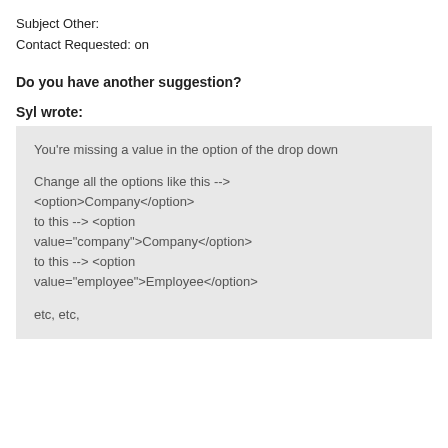Subject Other:
Contact Requested: on
Do you have another suggestion?
Syl wrote:
You're missing a value in the option of the drop down

Change all the options like this -->
<option>Company</option>
to this --> <option value="company">Company</option>
to this --> <option value="employee">Employee</option>

etc, etc,